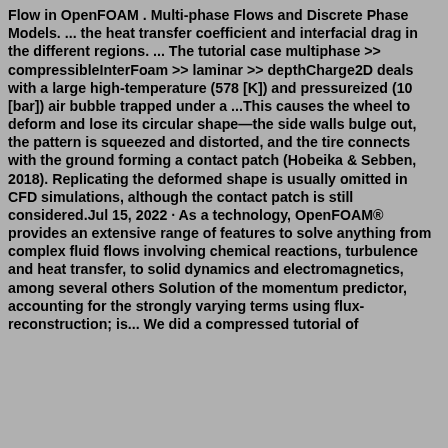Flow in OpenFOAM . Multi-phase Flows and Discrete Phase Models. ... the heat transfer coefficient and interfacial drag in the different regions. ... The tutorial case multiphase >> compressibleInterFoam >> laminar >> depthCharge2D deals with a large high-temperature (578 [K]) and pressureized (10 [bar]) air bubble trapped under a ...This causes the wheel to deform and lose its circular shape—the side walls bulge out, the pattern is squeezed and distorted, and the tire connects with the ground forming a contact patch (Hobeika & Sebben, 2018). Replicating the deformed shape is usually omitted in CFD simulations, although the contact patch is still considered.Jul 15, 2022 · As a technology, OpenFOAM® provides an extensive range of features to solve anything from complex fluid flows involving chemical reactions, turbulence and heat transfer, to solid dynamics and electromagnetics, among several others Solution of the momentum predictor, accounting for the strongly varying terms using flux-reconstruction; is... We did a compressed tutorial of